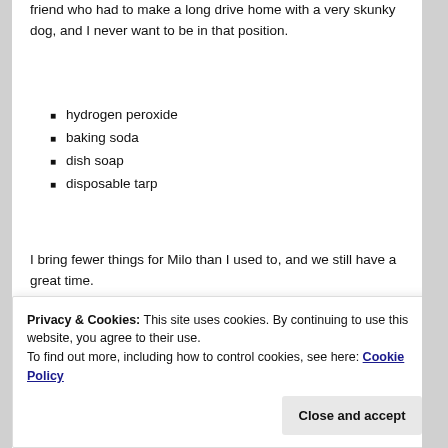friend who had to make a long drive home with a very skunky dog, and I never want to be in that position.
hydrogen peroxide
baking soda
dish soap
disposable tarp
I bring fewer things for Milo than I used to, and we still have a great time.
[Figure (photo): Photo of a wooded area seen through a metal wire fence/kennel, with green trees and a large tree trunk visible in the background]
Privacy & Cookies: This site uses cookies. By continuing to use this website, you agree to their use.
To find out more, including how to control cookies, see here: Cookie Policy